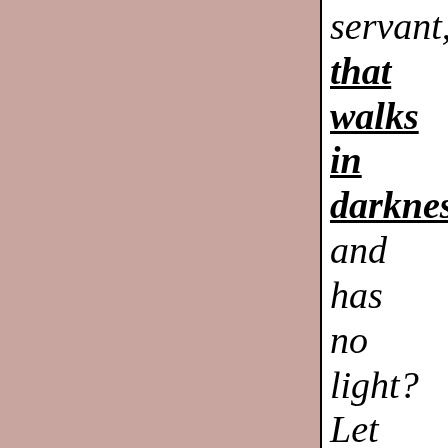[Figure (illustration): Large pinkish-mauve rectangular block occupying the left two-thirds of the page]
servant, that walks in darkness, and has no light? Let him trust in the name of the